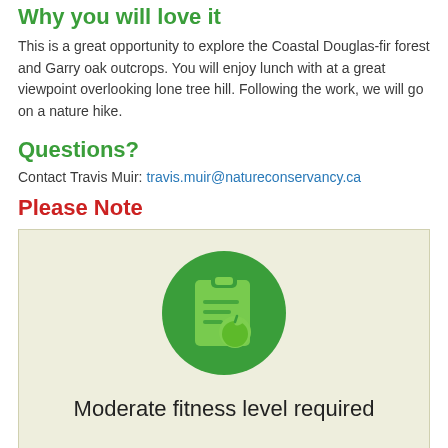Why you will love it
This is a great opportunity to explore the Coastal Douglas-fir forest and Garry oak outcrops. You will enjoy lunch with at a great viewpoint overlooking lone tree hill. Following the work, we will go on a nature hike.
Questions?
Contact Travis Muir: travis.muir@natureconservancy.ca
Please Note
[Figure (illustration): Green circle icon with a clipboard and apple graphic, with text 'Moderate fitness level required' below it on a light yellow-green background]